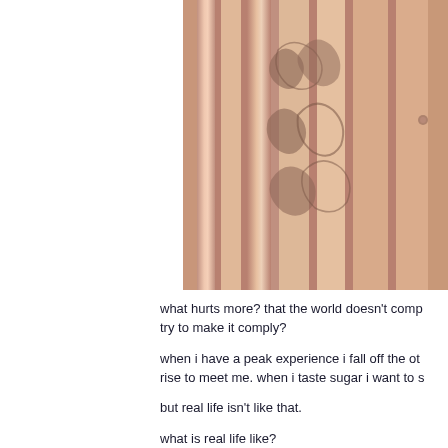[Figure (photo): A sepia-toned close-up photograph of an ornate wooden door with decorative carved panels and moldings, showing vertical grooves and baroque-style carved embellishments.]
what hurts more? that the world doesn't comp... try to make it comply?
when i have a peak experience i fall off the ot... rise to meet me. when i taste sugar i want to s...
but real life isn't like that.
what is real life like?